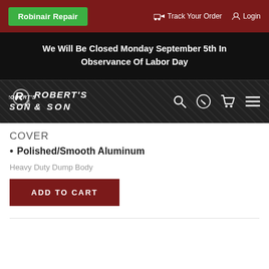Robinair Repair | Track Your Order | Login
We Will Be Closed Monday September 5th In Observance Of Labor Day
[Figure (logo): Robert's & Son logo on dark metal diamond-plate background with navigation icons (search, phone, cart, menu)]
COVER
Polished/Smooth Aluminum
Heavy Duty Dump Body
ADD TO CART